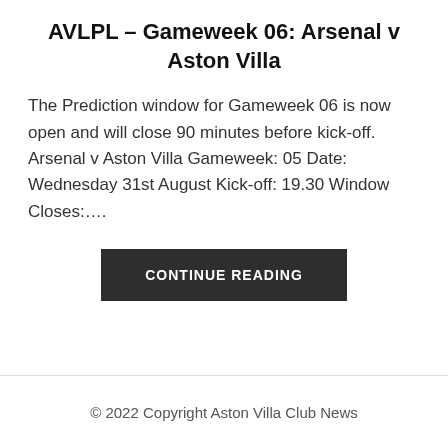AVLPL – Gameweek 06: Arsenal v Aston Villa
The Prediction window for Gameweek 06 is now open and will close 90 minutes before kick-off. Arsenal v Aston Villa Gameweek: 05 Date: Wednesday 31st August Kick-off: 19.30 Window Closes:….
CONTINUE READING
© 2022 Copyright Aston Villa Club News